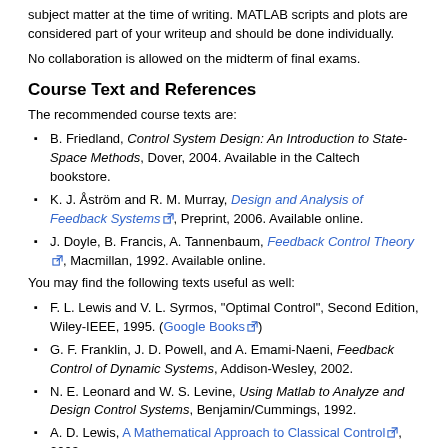subject matter at the time of writing. MATLAB scripts and plots are considered part of your writeup and should be done individually.
No collaboration is allowed on the midterm of final exams.
Course Text and References
The recommended course texts are:
B. Friedland, Control System Design: An Introduction to State-Space Methods, Dover, 2004. Available in the Caltech bookstore.
K. J. Åström and R. M. Murray, Design and Analysis of Feedback Systems, Preprint, 2006. Available online.
J. Doyle, B. Francis, A. Tannenbaum, Feedback Control Theory, Macmillan, 1992. Available online.
You may find the following texts useful as well:
F. L. Lewis and V. L. Syrmos, "Optimal Control", Second Edition, Wiley-IEEE, 1995. (Google Books)
G. F. Franklin, J. D. Powell, and A. Emami-Naeni, Feedback Control of Dynamic Systems, Addison-Wesley, 2002.
N. E. Leonard and W. S. Levine, Using Matlab to Analyze and Design Control Systems, Benjamin/Cummings, 1992.
A. D. Lewis, A Mathematical Approach to Classical Control, 2003.
Course Schedule